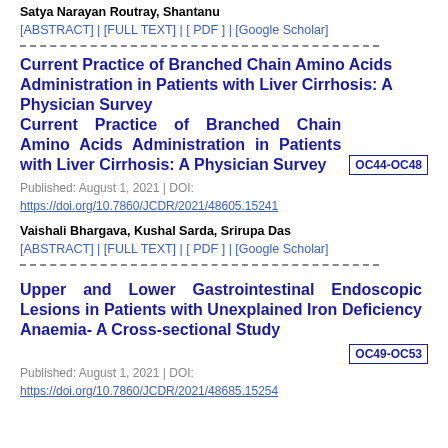Satya Narayan Routray, Shantanu
[ABSTRACT] | [FULL TEXT] | [ PDF ] | [Google Scholar]
Current Practice of Branched Chain Amino Acids Administration in Patients with Liver Cirrhosis: A Physician Survey OC44-OC48
Published: August 1, 2021 | DOI: https://doi.org/10.7860/JCDR/2021/48605.15241
Vaishali Bhargava, Kushal Sarda, Srirupa Das
[ABSTRACT] | [FULL TEXT] | [ PDF ] | [Google Scholar]
Upper and Lower Gastrointestinal Endoscopic Lesions in Patients with Unexplained Iron Deficiency Anaemia- A Cross-sectional Study OC49-OC53
Published: August 1, 2021 | DOI: https://doi.org/10.7860/JCDR/2021/48685.15254